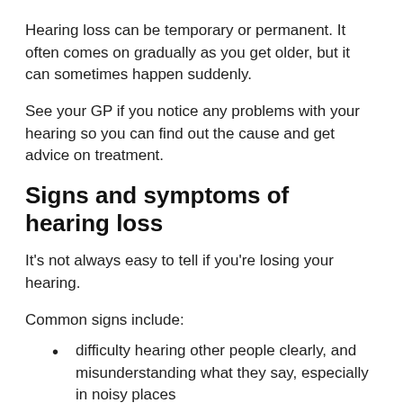Hearing loss can be temporary or permanent. It often comes on gradually as you get older, but it can sometimes happen suddenly.
See your GP if you notice any problems with your hearing so you can find out the cause and get advice on treatment.
Signs and symptoms of hearing loss
It's not always easy to tell if you're losing your hearing.
Common signs include:
difficulty hearing other people clearly, and misunderstanding what they say, especially in noisy places